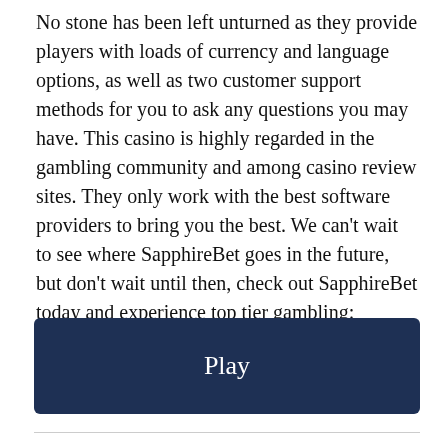No stone has been left unturned as they provide players with loads of currency and language options, as well as two customer support methods for you to ask any questions you may have. This casino is highly regarded in the gambling community and among casino review sites. They only work with the best software providers to bring you the best. We can't wait to see where SapphireBet goes in the future, but don't wait until then, check out SapphireBet today and experience top tier gambling:
[Figure (other): Dark navy blue button with the text 'Play' centered in white]